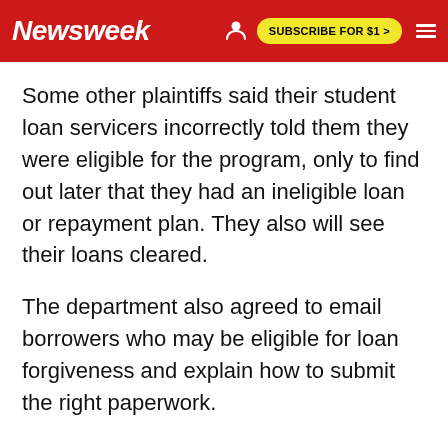Newsweek  SUBSCRIBE FOR $1 >
Some other plaintiffs said their student loan servicers incorrectly told them they were eligible for the program, only to find out later that they had an ineligible loan or repayment plan. They also will see their loans cleared.
The department also agreed to email borrowers who may be eligible for loan forgiveness and explain how to submit the right paperwork.